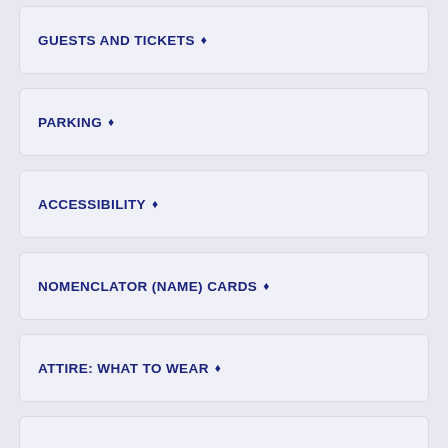GUESTS AND TICKETS
PARKING
ACCESSIBILITY
NOMENCLATOR (NAME) CARDS
ATTIRE: WHAT TO WEAR